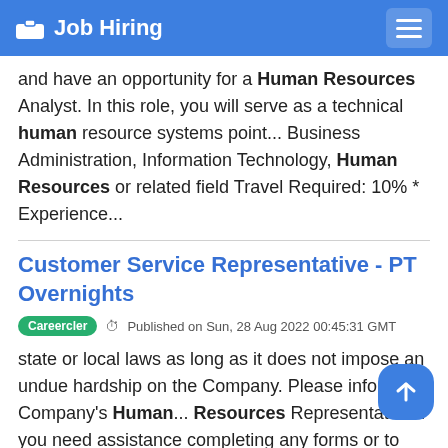Job Hiring
and have an opportunity for a Human Resources Analyst. In this role, you will serve as a technical human resource systems point... Business Administration, Information Technology, Human Resources or related field Travel Required: 10% * Experience...
Customer Service Representative - PT Overnights
Careercler  Published on Sun, 28 Aug 2022 00:45:31 GMT
state or local laws as long as it does not impose an undue hardship on the Company. Please inform the Company's Human... Resources Representative if you need assistance completing any forms or to otherwise